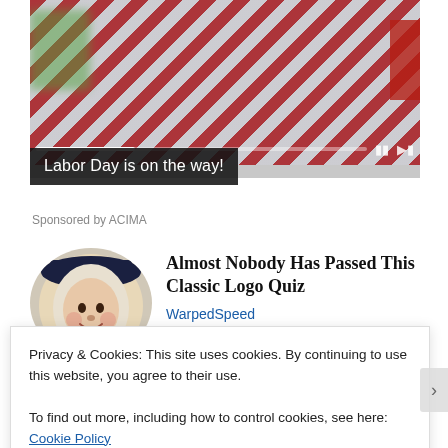[Figure (photo): Red and white striped items (flags/bags) in a store setting, shown as a video with playback controls bar at the bottom]
Labor Day is on the way!
Sponsored by ACIMA
[Figure (photo): Circular portrait of a cartoon/illustrated character with white wig and dark wide-brim hat (Quaker Oats style)]
Almost Nobody Has Passed This Classic Logo Quiz
WarpedSpeed
Privacy & Cookies: This site uses cookies. By continuing to use this website, you agree to their use.
To find out more, including how to control cookies, see here: Cookie Policy
Close and accept